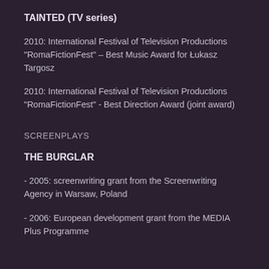TAINTED (TV series)
2010: International Festival of Television Productions "RomaFictionFest" – Best Music Award for Łukasz Targosz
2010: International Festival of Television Productions "RomaFictionFest" - Best Direction Award (joint award)
SCREENPLAYS
THE BURGLAR
- 2005: screenwriting grant from the Screenwriting Agency in Warsaw, Poland
- 2006: European development grant from the MEDIA Plus Programme